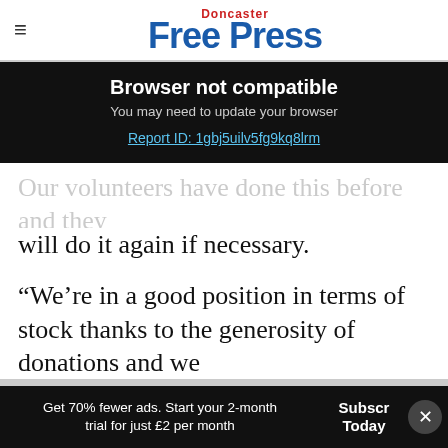Doncaster Free Press
Browser not compatible
You may need to update your browser
Report ID: 1gbj5uilv5fg9kq8lrm
Our volunteers have done this before and they will do it again if necessary.
“We’re in a good position in terms of stock thanks to the generosity of donations and we hope that people will continue to give this Christmas.”
Get 70% fewer ads. Start your 2-month trial for just £2 per month
Subscribe Today